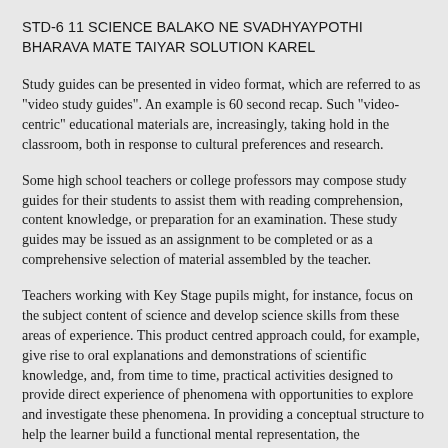STD-6 11 SCIENCE BALAKO NE SVADHYAYPOTHI BHARAVA MATE TAIYAR SOLUTION KAREL
Study guides can be presented in video format, which are referred to as "video study guides". An example is 60 second recap. Such "video-centric" educational materials are, increasingly, taking hold in the classroom, both in response to cultural preferences and research.
Some high school teachers or college professors may compose study guides for their students to assist them with reading comprehension, content knowledge, or preparation for an examination. These study guides may be issued as an assignment to be completed or as a comprehensive selection of material assembled by the teacher.
Teachers working with Key Stage pupils might, for instance, focus on the subject content of science and develop science skills from these areas of experience. This product centred approach could, for example, give rise to oral explanations and demonstrations of scientific knowledge, and, from time to time, practical activities designed to provide direct experience of phenomena with opportunities to explore and investigate these phenomena. In providing a conceptual structure to help the learner build a functional mental representation, the